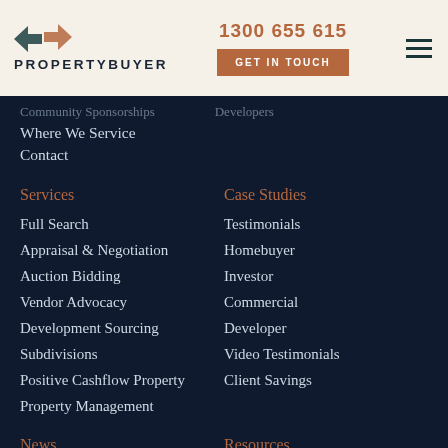PropertyBuyer | 1300 655 615 | GET IN TOUCH
Community Sponsorship
Developers
Where We Service
Contact
Services
Case Studies
Full Search
Testimonials
Appraisal & Negotiation
Homebuyer
Auction Bidding
Investor
Vendor Advocacy
Commercial
Development Sourcing
Developer
Subdivisions
Video Testimonials
Positive Cashflow Property
Client Savings
Property Management
News
Resources
Market Updates
10 Must-Know Tactics To